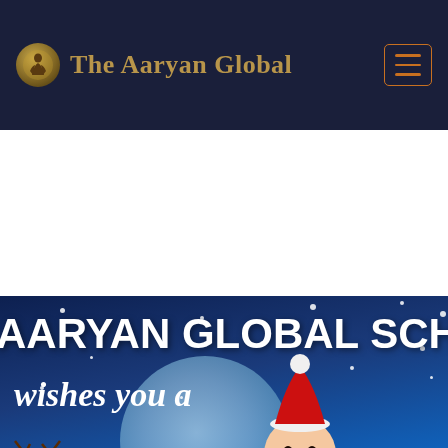The Aaryan Global
[Figure (illustration): Christmas greeting banner showing Santa Claus in a sleigh pulled by reindeer against a dark blue starry night sky with a large moon. Text reads 'AARYAN GLOBAL SCH' (cropped) and 'wishes you a' in script font.]
AARYAN GLOBAL SCH
wishes you a